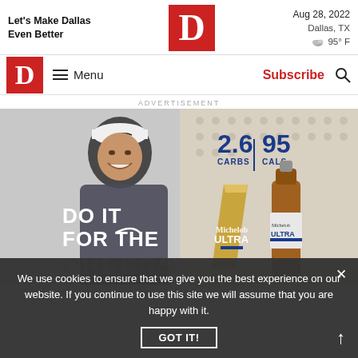Let's Make Dallas Even Better | D Magazine logo | Aug 28, 2022 Dallas, TX 95° F
[Figure (logo): D Magazine red square logo with white D letterform, large version in top header]
[Figure (logo): D Magazine red square logo with white D letterform, navigation bar version]
Menu
Subscribe
ADVERTISEMENT
[Figure (photo): Michelob ULTRA beer advertisement featuring a smiling golfer wearing Nike gear and a white cap. Text reads '2.6 CARBS | 95 CALS', 'DO IT FOR THE CHEERS'. Shows Michelob ULTRA beer glass and bottle.]
We use cookies to ensure that we give you the best experience on our website. If you continue to use this site we will assume that you are happy with it.
GOT IT!